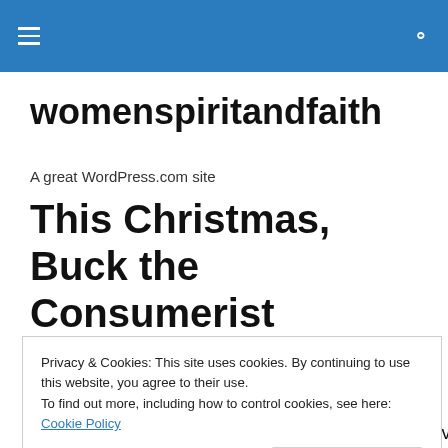womenspiritandfaith — site navigation and search bar
womenspiritandfaith
A great WordPress.com site
This Christmas, Buck the Consumerist Mindset
[Figure (photo): Partial featured image visible behind cookie banner]
Privacy & Cookies: This site uses cookies. By continuing to use this website, you agree to their use.
To find out more, including how to control cookies, see here: Cookie Policy
sweatshop tragedy in Dhakah, Bangladesh. On November